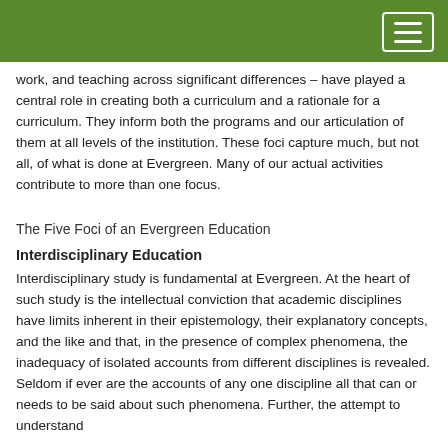(navigation bar with menu button)
work, and teaching across significant differences – have played a central role in creating both a curriculum and a rationale for a curriculum. They inform both the programs and our articulation of them at all levels of the institution. These foci capture much, but not all, of what is done at Evergreen. Many of our actual activities contribute to more than one focus.
The Five Foci of an Evergreen Education
Interdisciplinary Education
Interdisciplinary study is fundamental at Evergreen. At the heart of such study is the intellectual conviction that academic disciplines have limits inherent in their epistemology, their explanatory concepts, and the like and that, in the presence of complex phenomena, the inadequacy of isolated accounts from different disciplines is revealed. Seldom if ever are the accounts of any one discipline all that can or needs to be said about such phenomena. Further, the attempt to understand